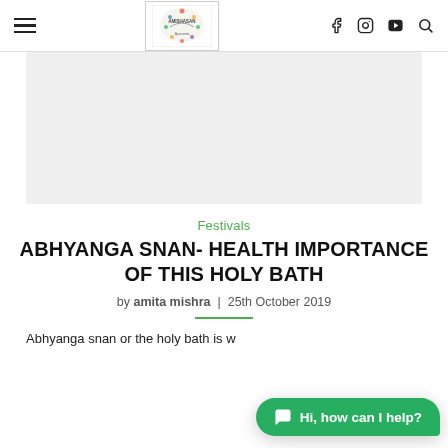AMISHASAN [logo] | f [Instagram] [YouTube] [Search]
[Figure (other): Gray advertisement/placeholder box]
Festivals
ABHYANGA SNAN- HEALTH IMPORTANCE OF THIS HOLY BATH
by amita mishra | 25th October 2019
Abhyanga snan or the holy bath is w…